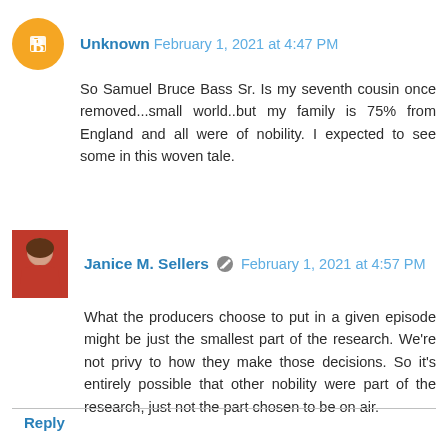Unknown  February 1, 2021 at 4:47 PM
So Samuel Bruce Bass Sr. Is my seventh cousin once removed...small world..but my family is 75% from England and all were of nobility. I expected to see some in this woven tale.
Janice M. Sellers  February 1, 2021 at 4:57 PM
What the producers choose to put in a given episode might be just the smallest part of the research. We're not privy to how they make those decisions. So it's entirely possible that other nobility were part of the research, just not the part chosen to be on air.
Reply